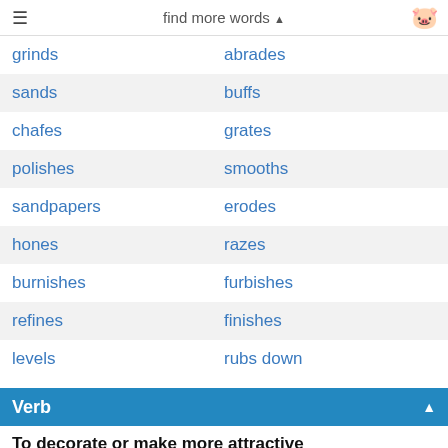find more words ▲
grinds | abrades
sands | buffs
chafes | grates
polishes | smooths
sandpapers | erodes
hones | razes
burnishes | furbishes
refines | finishes
levels | rubs down
Verb
To decorate or make more attractive
does | decorates
adorns | embellishes